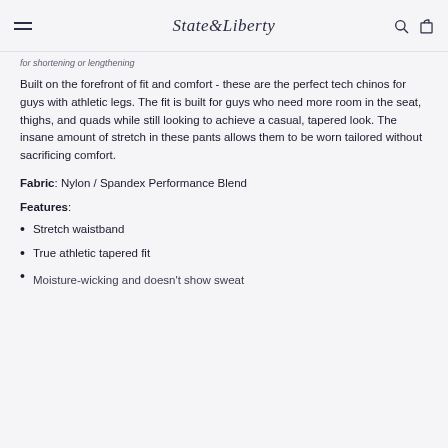State & Liberty
for shortening or lengthening
Built on the forefront of fit and comfort - these are the perfect tech chinos for guys with athletic legs. The fit is built for guys who need more room in the seat, thighs, and quads while still looking to achieve a casual, tapered look. The insane amount of stretch in these pants allows them to be worn tailored without sacrificing comfort.
Fabric: Nylon / Spandex Performance Blend
Features:
Stretch waistband
True athletic tapered fit
Moisture-wicking and doesn't show sweat